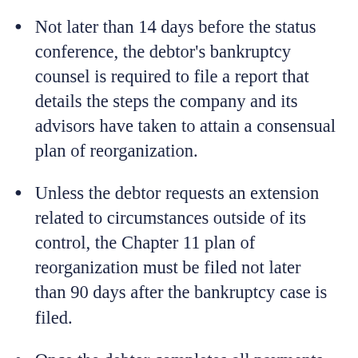Not later than 14 days before the status conference, the debtor's bankruptcy counsel is required to file a report that details the steps the company and its advisors have taken to attain a consensual plan of reorganization.
Unless the debtor requests an extension related to circumstances outside of its control, the Chapter 11 plan of reorganization must be filed not later than 90 days after the bankruptcy case is filed.
Once the debtor completes all payments according to the plan, the reorganized debtor will receive a discharge from all of